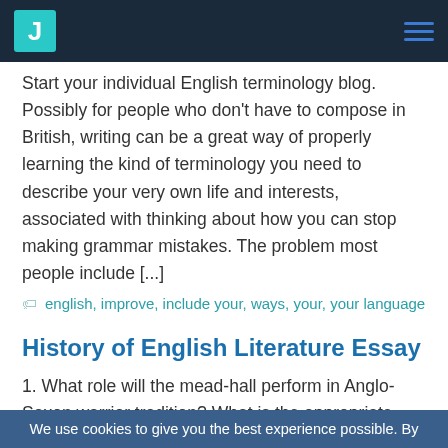J [logo] [hamburger menu]
Start your individual English terminology blog. Possibly for people who don't have to compose in British, writing can be a great way of properly learning the kind of terminology you need to describe your very own life and interests, associated with thinking about how you can stop making grammar mistakes. The problem most people include [...]
english, improve, include your, ways, your, your language
History of English Literature Essay
1. What role will the mead-hall perform in Anglo-Saxon warrior tradition? What is the appropriate relationship between a lord and his warriors? What illustrations can you locate throughout Beowulf? 2 . Precisely what is the
We use cookies to give you the best experience possible. By